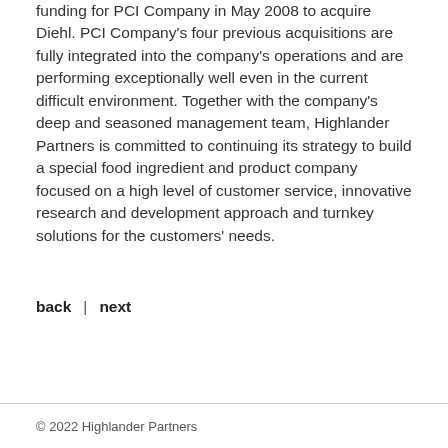funding for PCI Company in May 2008 to acquire Diehl. PCI Company's four previous acquisitions are fully integrated into the company's operations and are performing exceptionally well even in the current difficult environment. Together with the company's deep and seasoned management team, Highlander Partners is committed to continuing its strategy to build a special food ingredient and product company focused on a high level of customer service, innovative research and development approach and turnkey solutions for the customers' needs.
back | next
© 2022 Highlander Partners